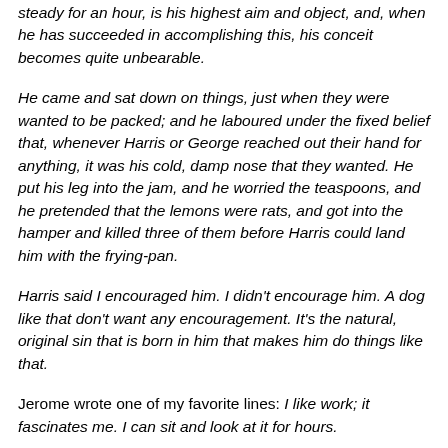steady for an hour, is his highest aim and object, and, when he has succeeded in accomplishing this, his conceit becomes quite unbearable.
He came and sat down on things, just when they were wanted to be packed; and he laboured under the fixed belief that, whenever Harris or George reached out their hand for anything, it was his cold, damp nose that they wanted. He put his leg into the jam, and he worried the teaspoons, and he pretended that the lemons were rats, and got into the hamper and killed three of them before Harris could land him with the frying-pan.
Harris said I encouraged him. I didn't encourage him. A dog like that don't want any encouragement. It's the natural, original sin that is born in him that makes him do things like that.
Jerome wrote one of my favorite lines: I like work; it fascinates me. I can sit and look at it for hours.
Jerome published G.K. Chesterton's The Club of Queer Trades in 1905. And another J.K.J. connection to G.K.C. is